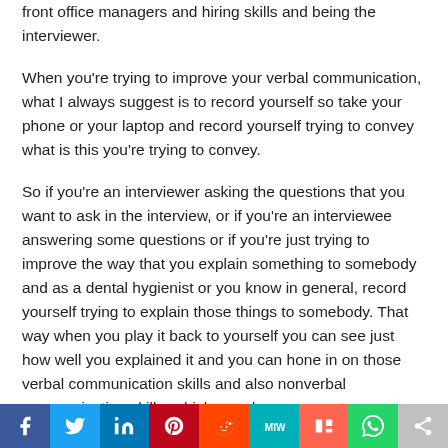front office managers and hiring skills and being the interviewer.
When you're trying to improve your verbal communication, what I always suggest is to record yourself so take your phone or your laptop and record yourself trying to convey what is this you're trying to convey.
So if you're an interviewer asking the questions that you want to ask in the interview, or if you're an interviewee answering some questions or if you're just trying to improve the way that you explain something to somebody and as a dental hygienist or you know in general, record yourself trying to explain those things to somebody. That way when you play it back to yourself you can see just how well you explained it and you can hone in on those verbal communication skills and also nonverbal communication skills, which are also very
[Figure (other): Social media share bar with icons: Facebook, Twitter, LinkedIn, Pinterest, Reddit, MixedW, Mix, WhatsApp, Share]